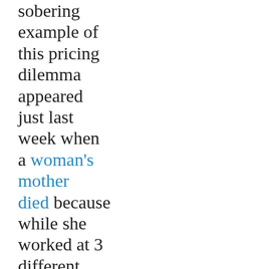sobering example of this pricing dilemma appeared just last week when a woman's mother died because while she worked at 3 different jobs – it wasn't enough to afford the co-pay on the rescue inhaler she needed for her asthma.  The government has provided Grant money to the National